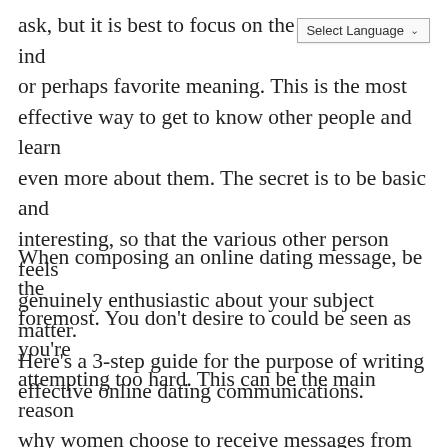ask, but it is best to focus on the ind or perhaps favorite meaning. This is the most effective way to get to know other people and learn even more about them. The secret is to be basic and interesting, so that the various other person feels genuinely enthusiastic about your subject matter. Here's a 3-step guide for the purpose of writing effective online dating communications.
When composing an online dating message, be the foremost. You don't desire to could be seen as you're attempting too hard. This can be the main reason why women choose to receive messages from fellas who happen to be original. Also, look for common crushed with the woman you're producing to. An excellent place to do this really is on a seeing website just like SilverSingles. If you fail to find an individual on SilverSingles, try a online dating website that offers you a directory of common